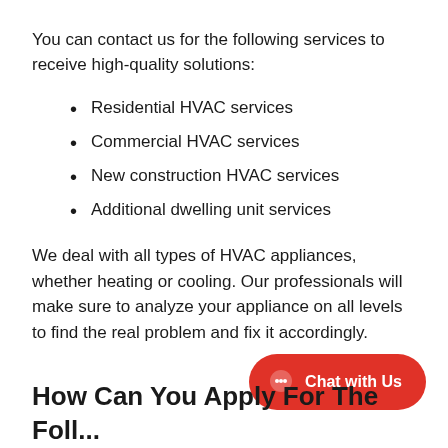You can contact us for the following services to receive high-quality solutions:
Residential HVAC services
Commercial HVAC services
New construction HVAC services
Additional dwelling unit services
We deal with all types of HVAC appliances, whether heating or cooling. Our professionals will make sure to analyze your appliance on all levels to find the real problem and fix it accordingly.
How Can You Apply For The Foll...